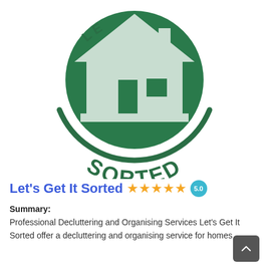[Figure (logo): Let's Get It Sorted circular logo: green circle with white house icon, outer ring with arced text 'LE...' at top and 'SORTED' at bottom in dark green]
Let's Get It Sorted ★★★★★ 5.0
Summary:
Professional Decluttering and Organising Services Let's Get It Sorted offer a decluttering and organising service for homes